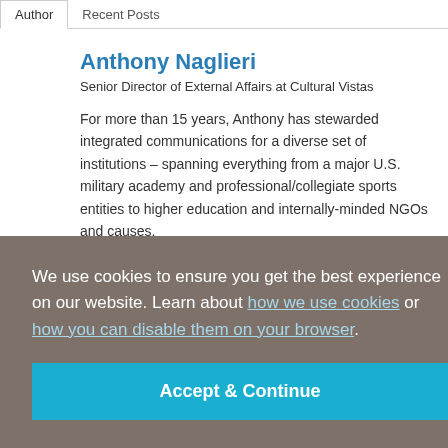Author | Recent Posts
Anthony Naglieri
Senior Director of External Affairs at Cultural Vistas
For more than 15 years, Anthony has stewarded integrated communications for a diverse set of institutions – spanning everything from a major U.S. military academy and professional/collegiate sports entities to higher education and internally-minded NGOs and causes.
We use cookies to ensure you get the best experience on our website. Learn about how we use cookies or how you can disable them on your browser.
Accept & Continue